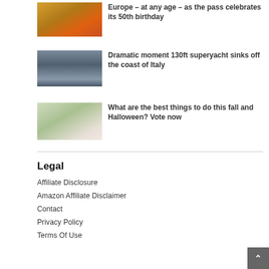[Figure (photo): Aerial or landscape view with orange/golden terrain and a red vessel]
Europe – at any age – as the pass celebrates its 50th birthday
[Figure (photo): A large superyacht sinking in stormy grey sea water]
Dramatic moment 130ft superyacht sinks off the coast of Italy
[Figure (photo): Two girls outdoors with green foliage in background]
What are the best things to do this fall and Halloween? Vote now
Legal
Affiliate Disclosure
Amazon Affiliate Disclaimer
Contact
Privacy Policy
Terms Of Use